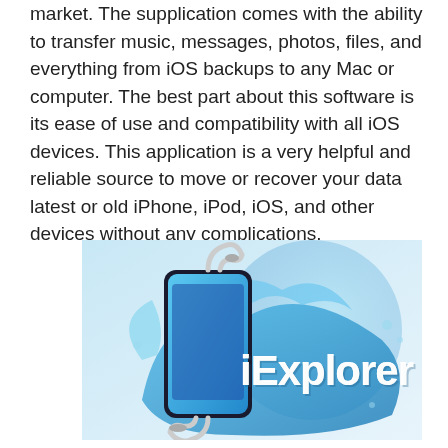market. The supplication comes with the ability to transfer music, messages, photos, files, and everything from iOS backups to any Mac or computer. The best part about this software is its ease of use and compatibility with all iOS devices. This application is a very helpful and reliable source to move or recover your data latest or old iPhone, iPod, iOS, and other devices without any complications.
[Figure (logo): iExplorer logo — a smartphone with Lightning and dock connector cables against a blue water splash background, with the text 'iExplorer' in large white letters.]